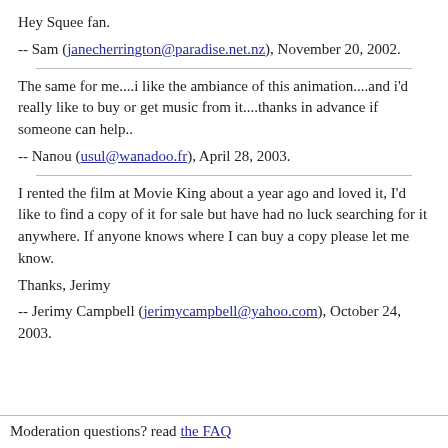Hey Squee fan.
-- Sam (janecherrington@paradise.net.nz), November 20, 2002.
The same for me....i like the ambiance of this animation....and i'd really like to buy or get music from it....thanks in advance if someone can help..
-- Nanou (usul@wanadoo.fr), April 28, 2003.
I rented the film at Movie King about a year ago and loved it, I'd like to find a copy of it for sale but have had no luck searching for it anywhere. If anyone knows where I can buy a copy please let me know.
Thanks, Jerimy
-- Jerimy Campbell (jerimycampbell@yahoo.com), October 24, 2003.
Moderation questions? read the FAQ